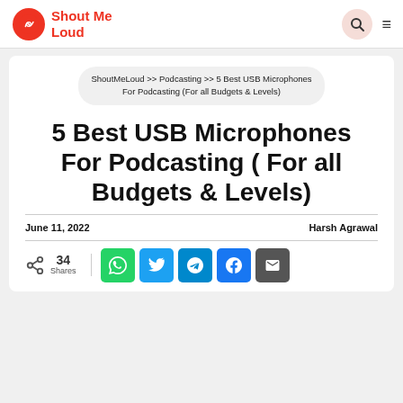ShoutMeLoud
ShoutMeLoud >> Podcasting >> 5 Best USB Microphones For Podcasting (For all Budgets & Levels)
5 Best USB Microphones For Podcasting ( For all Budgets & Levels)
June 11, 2022      Harsh Agrawal
34 Shares